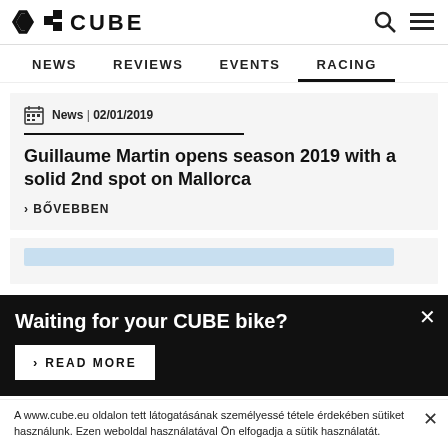CUBE logo and navigation header
NEWS | REVIEWS | EVENTS | RACING
News | 02/01/2019
Guillaume Martin opens season 2019 with a solid 2nd spot on Mallorca
› BŐVEBBEN
Waiting for your CUBE bike?
› READ MORE
A www.cube.eu oldalon tett látogatásának személyessé tétele érdekében sütiket használunk. Ezen weboldal használatával Ön elfogadja a sütik használatát.